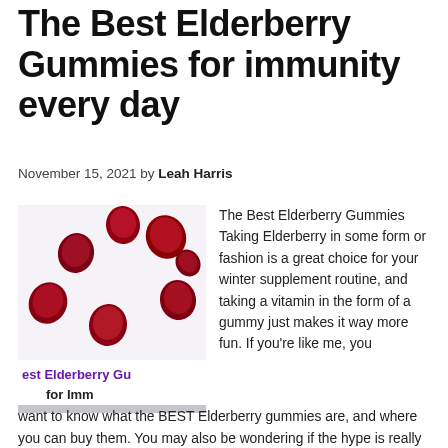The Best Elderberry Gummies for immunity every day
November 15, 2021 by Leah Harris
[Figure (photo): Photo of red elderberry gummies scattered on a white background, with a partially visible text overlay reading 'est Elderberry Gu for Imm']
The Best Elderberry Gummies Taking Elderberry in some form or fashion is a great choice for your winter supplement routine, and taking a vitamin in the form of a gummy just makes it way more fun. If you're like me, you want to know what the BEST Elderberry gummies are, and where you can buy them. You may also be wondering if the hype is really worth it and if Elderberry …
[Read more...]